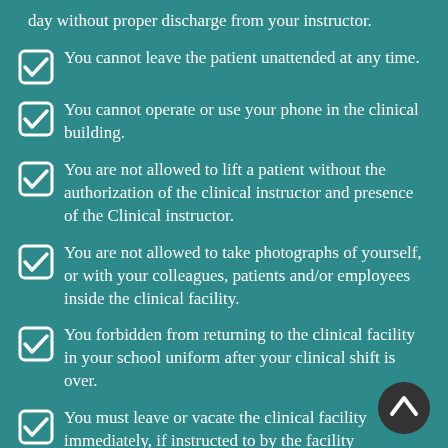day without proper discharge from your instructor.
You cannot leave the patient unattended at any time.
You cannot operate or use your phone in the clinical building.
You are not allowed to lift a patient without the authorization of the clinical instructor and presence of the Clinical instructor.
You are not allowed to take photographs of yourself, or with your colleagues, patients and/or employees inside the clinical facility.
You forbidden from returning to the clinical facility in your school uniform after your clinical shift is over.
You must leave or vacate the clinical facility immediately, if instructed to by the facility management